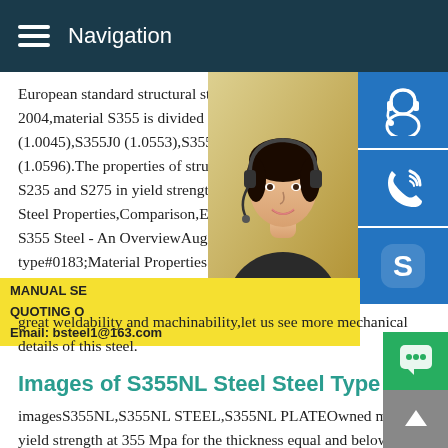Navigation
European standard structural steel grade,a 2004,material S355 is divided into 4 main (1.0045),S355J0 (1.0553),S355J2 (1.0577 (1.0596).The properties of structural steel S235 and S275 in yield strength and tensi Steel Properties,Comparison,Equivalent M S355 Steel - An OverviewAug 23,2015 s3 type#0183;Material Properties of S355 Ste a non-alloy European standard (EN 10025 commonly used after S235 where more st great weldability and machinability,let us see more mechanical details of this steel.
MANUAL SE
QUOTING O
Email: bsteel1@163.com
Images of S355NL Steel Steel Type
imagesS355NL,S355NL STEEL,S355NL PLATEOwned minim yield strength at 355 Mpa for the thickness equal and below 1